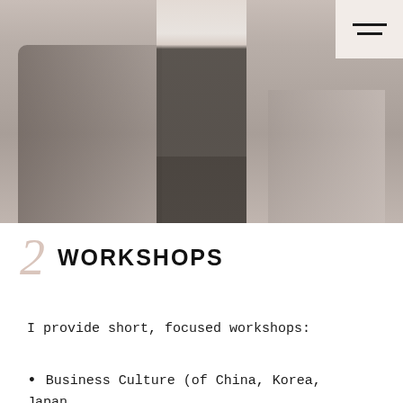[Figure (photo): Workshop scene showing several people in a group setting, one person standing with back to camera appearing to lead the group, others seated around them in what appears to be a professional workshop or training environment]
2 WORKSHOPS
I provide short, focused workshops:
Business Culture (of China, Korea, Japan,